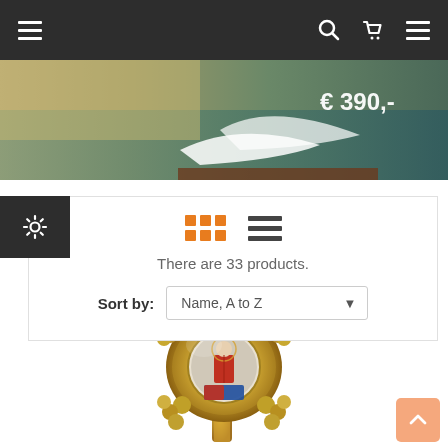Navigation bar with menu, search, cart, and menu icons
[Figure (photo): Banner image showing a landscape/panoramic scene with price tag €390,-]
[Figure (screenshot): Product listing controls: grid/list view icons, product count text 'There are 33 products.', Sort by dropdown 'Name, A to Z']
There are 33 products.
Sort by: Name, A to Z
[Figure (photo): Ornamental golden corkscrew/wine opener with decorative medallion featuring a religious figure, surrounded by grape cluster motifs]